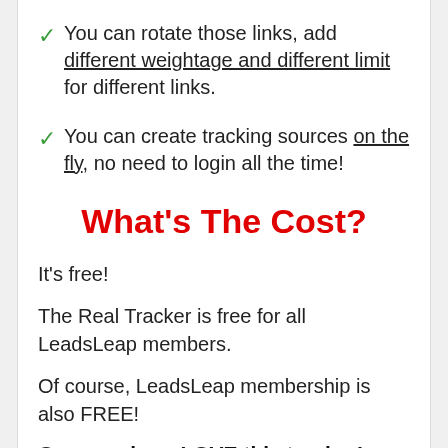You can rotate those links, add different weightage and different limit for different links.
You can create tracking sources on the fly, no need to login all the time!
What's The Cost?
It's free!
The Real Tracker is free for all LeadsLeap members.
Of course, LeadsLeap membership is also FREE!
Our members LOVE this tracker!